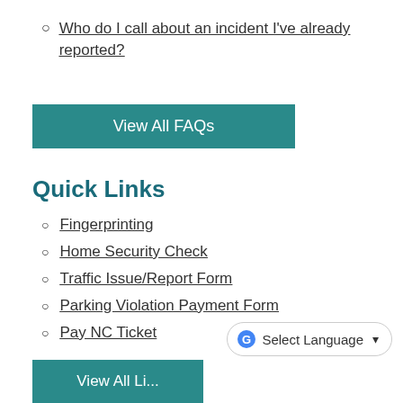Who do I call about an incident I've already reported?
View All FAQs
Quick Links
Fingerprinting
Home Security Check
Traffic Issue/Report Form
Parking Violation Payment Form
Pay NC Ticket
Select Language
View All Li...